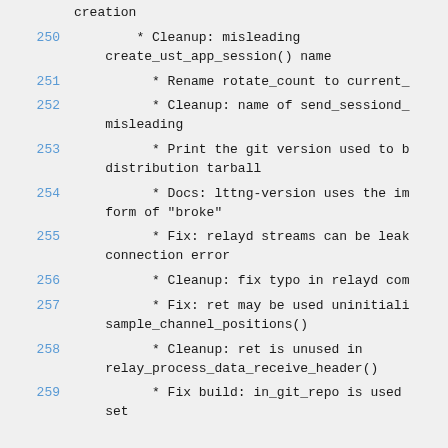250        * Cleanup: misleading create_ust_app_session() name
251          * Rename rotate_count to current_
252          * Cleanup: name of send_sessiond_ misleading
253          * Print the git version used to b distribution tarball
254          * Docs: lttng-version uses the im form of "broke"
255          * Fix: relayd streams can be leak connection error
256          * Cleanup: fix typo in relayd com
257          * Fix: ret may be used uninitiali sample_channel_positions()
258          * Cleanup: ret is unused in relay_process_data_receive_header()
259          * Fix build: in_git_repo is used set